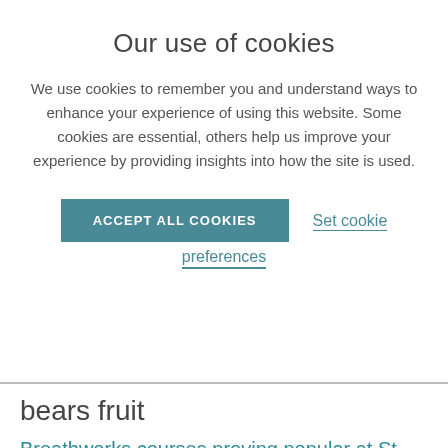Our use of cookies
We use cookies to remember you and understand ways to enhance your experience of using this website. Some cookies are essential, others help us improve your experience by providing insights into how the site is used.
ACCEPT ALL COOKIES   Set cookie preferences
bears fruit
Breathworks courses proving popular at St Michael's Hospice
Share